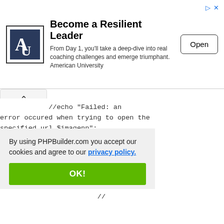[Figure (screenshot): Advertisement banner for American University leadership program with logo, title 'Become a Resilient Leader', description text, and Open button]
By using PHPBuilder.com you accept our cookies and agree to our privacy policy.
OK!
//echo "Failed: an error occured when trying to open the specified url $imagenn";
            }
        }
        else
        {
            //echo "Failed: an error while fetching: $filen";
//